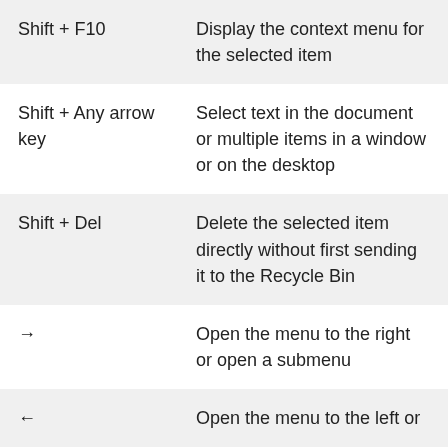| Shortcut | Description |
| --- | --- |
| Shift + F10 | Display the context menu for the selected item |
| Shift + Any arrow key | Select text in the document or multiple items in a window or on the desktop |
| Shift + Del | Delete the selected item directly without first sending it to the Recycle Bin |
| → | Open the menu to the right or open a submenu |
| ← | Open the menu to the left or |